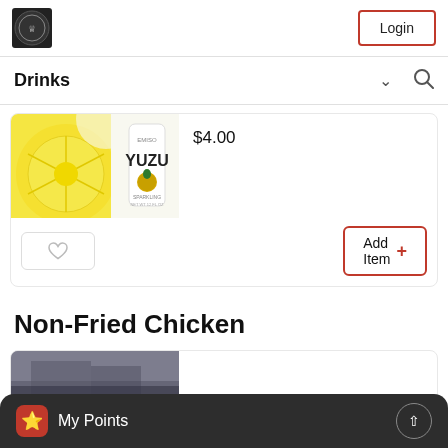[Figure (logo): Circular dark emblem/logo on black square background]
Login
Drinks
[Figure (photo): Yuzu drink product image showing a lemon slice and a YUZU branded can/bottle]
$4.00
Add Item +
Non-Fried Chicken
[Figure (photo): Partial product image for Non-Fried Chicken section]
My Points